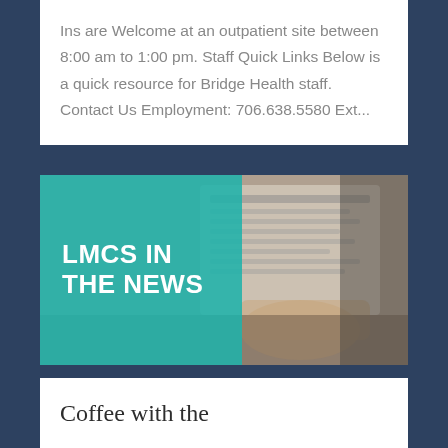Ins are Welcome at an outpatient site between 8:00 am to 1:00 pm. Staff Quick Links Below is a quick resource for Bridge Health staff. Contact Us Employment: 706.638.5580 Ext...
[Figure (illustration): LMCS IN THE NEWS graphic — teal overlay on left with bold white uppercase text 'LMCS IN THE NEWS', right side shows blurred photo of person holding newspaper]
Coffee with the